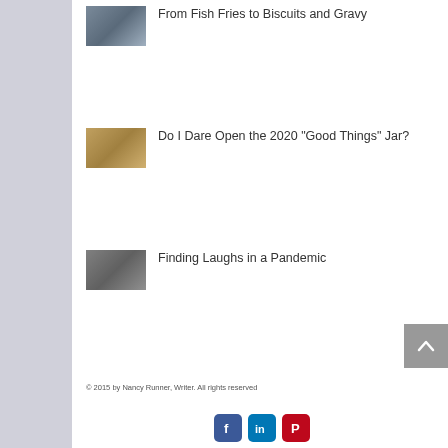[Figure (photo): Thumbnail image for article: From Fish Fries to Biscuits and Gravy]
From Fish Fries to Biscuits and Gravy
[Figure (photo): Thumbnail image for article: Do I Dare Open the 2020 "Good Things" Jar?]
Do I Dare Open the 2020 "Good Things" Jar?
[Figure (photo): Thumbnail image for article: Finding Laughs in a Pandemic]
Finding Laughs in a Pandemic
[Figure (illustration): Back to top arrow button (grey background with white chevron up arrow)]
© 2015 by Nancy Runner, Writer. All rights reserved
[Figure (logo): Social media icons: Facebook (blue), LinkedIn (blue), Pinterest (red)]